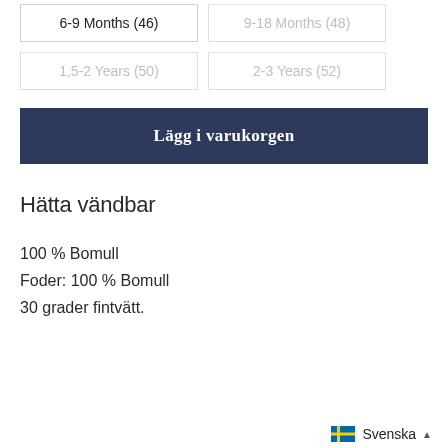6-9 Months (46)
9-18 Months (48)
1,5-2 Years (50)
2-3 Years (52)
Lägg i varukorgen
Hätta vändbar
100 % Bomull
Foder: 100 % Bomull
30 grader fintvätt.
Svenska